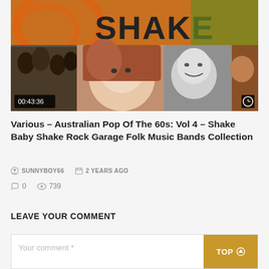[Figure (photo): Video thumbnail showing 'Shake Baby Shake' compilation album cover with retro 60s imagery including band photos and a woman's face, with timestamp 00:43:36 shown in bottom left and a clock icon in bottom right]
Various – Australian Pop Of The 60s: Vol 4 – Shake Baby Shake Rock Garage Folk Music Bands Collection
SUNNYBOY66   2 YEARS AGO
0   739
LEAVE YOUR COMMENT
Your comment *   TOP